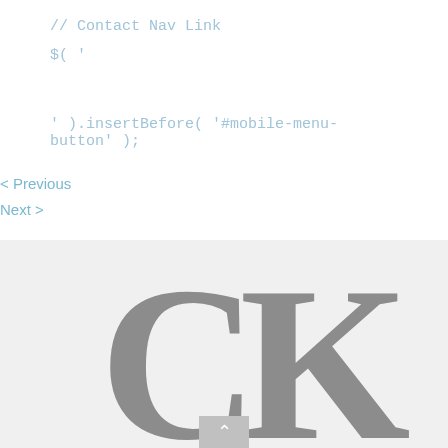// Contact Nav Link
$( '
' ).insertBefore( '#mobile-menu-button' );
< Previous
Next >
[Figure (logo): Large serif 'CK' monogram logo in gray on light gray background, partially cropped at the bottom]